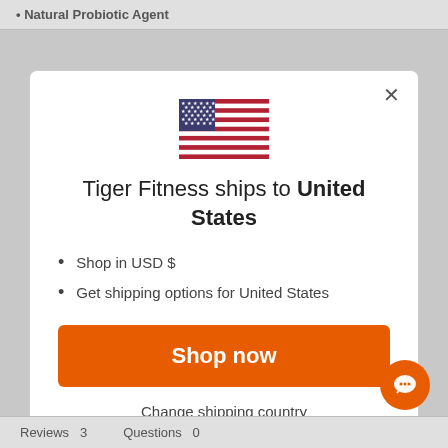• Natural Probiotic Agent
[Figure (screenshot): Modal dialog box on Tiger Fitness website showing US flag, shipping information, Shop now button, and Change shipping country link]
Tiger Fitness ships to United States
Shop in USD $
Get shipping options for United States
Shop now
Change shipping country
Reviews  3    Questions  0